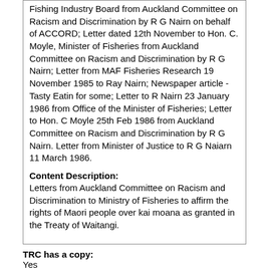Fishing Industry Board from Auckland Committee on Racism and Discrimination by R G Nairn on behalf of ACCORD; Letter dated 12th November to Hon. C. Moyle, Minister of Fisheries from Auckland Committee on Racism and Discrimination by R G Nairn; Letter from MAF Fisheries Research 19 November 1985 to Ray Nairn; Newspaper article - Tasty Eatin for some; Letter to R Nairn 23 January 1986 from Office of the Minister of Fisheries; Letter to Hon. C Moyle 25th Feb 1986 from Auckland Committee on Racism and Discrimination by R G Nairn. Letter from Minister of Justice to R G Naiarn 11 March 1986.
Content Description:
Letters from Auckland Committee on Racism and Discrimination to Ministry of Fisheries to affirm the rights of Maori people over kai moana as granted in the Treaty of Waitangi.
TRC has a copy:
Yes
Content is complete:
Yes
Author Ethnicity:
Pākehā
Publication format:
Letters, Newspaper article